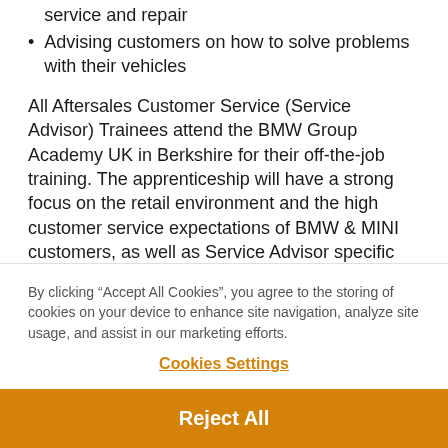service and repair
Advising customers on how to solve problems with their vehicles
All Aftersales Customer Service (Service Advisor) Trainees attend the BMW Group Academy UK in Berkshire for their off-the-job training. The apprenticeship will have a strong focus on the retail environment and the high customer service expectations of BMW & MINI customers, as well as Service Advisor specific training. The training takes place over a 12-month period at the BMW Group Academy and has been designed to suit both Parts and Service Advisor
By clicking “Accept All Cookies”, you agree to the storing of cookies on your device to enhance site navigation, analyze site usage, and assist in our marketing efforts.
Cookies Settings
Reject All